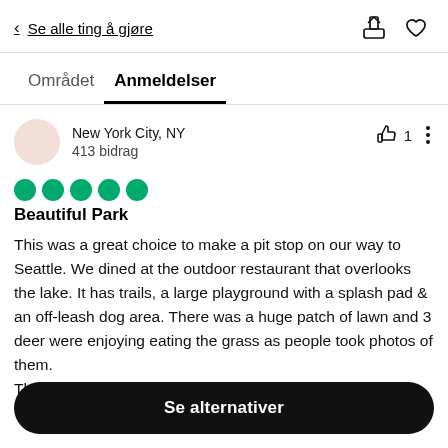< Se alle ting å gjøre
Området   Anmeldelser
New York City, NY
413 bidrag
[Figure (other): Five green filled circles representing a 5-out-of-5 rating]
Beautiful Park
This was a great choice to make a pit stop on our way to Seattle. We dined at the outdoor restaurant that overlooks the lake. It has trails, a large playground with a splash pad & an off-leash dog area. There was a huge patch of lawn and 3 deer were enjoying eating the grass as people took photos of them.
The restrooms were clean and we enjoyed getting o...
Se alternativer